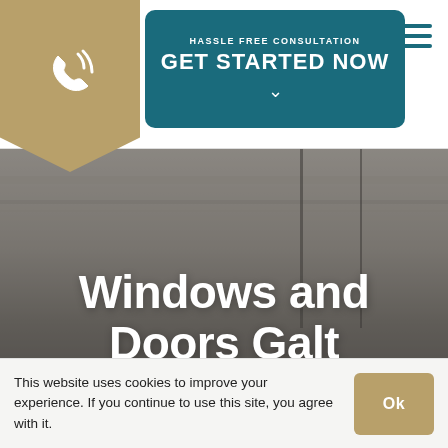[Figure (logo): Gold ribbon/bookmark shape with white phone icon]
HASSLE FREE CONSULTATION
GET STARTED NOW
[Figure (other): Hamburger menu icon with three horizontal teal lines]
[Figure (photo): Interior architectural photo showing ceiling and window trim, greyed out. Large white bold text overlay reads 'Windows and Doors Galt']
Windows and Doors Galt
This website uses cookies to improve your experience. If you continue to use this site, you agree with it.